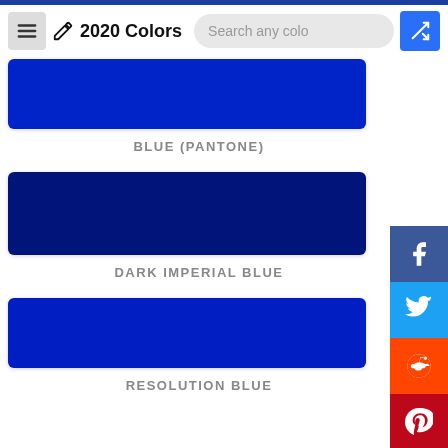2020 Colors
[Figure (other): Blue (Pantone) color swatch - partially visible at top]
BLUE (PANTONE)
[Figure (other): Dark Imperial Blue color swatch]
DARK IMPERIAL BLUE
[Figure (other): Resolution Blue color swatch - partially visible]
RESOLUTION BLUE